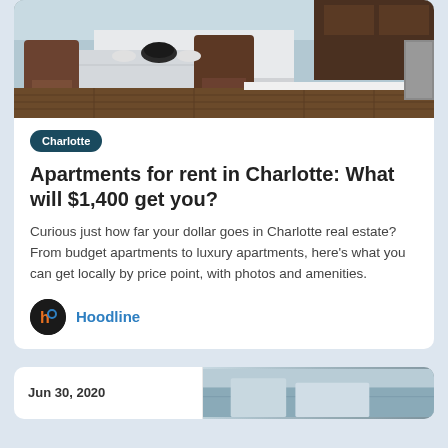[Figure (photo): Interior photo of a kitchen/dining area with dark wood chairs, marble table, white cabinetry, and hardwood floors]
Charlotte
Apartments for rent in Charlotte: What will $1,400 get you?
Curious just how far your dollar goes in Charlotte real estate? From budget apartments to luxury apartments, here's what you can get locally by price point, with photos and amenities.
Hoodline
Jun 30, 2020